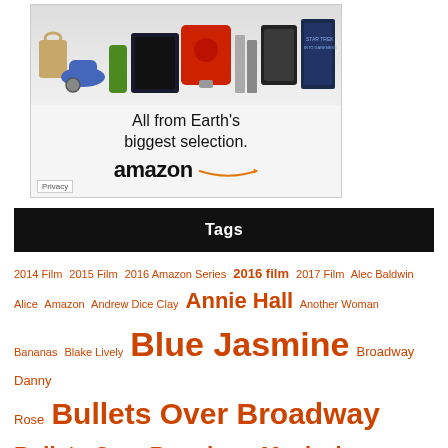[Figure (illustration): Amazon advertisement banner showing various products (PS4, KitchenAid mixer, tablets, shoes, bag, drink, books, Star Trek movie) with text 'All from Earth's biggest selection.' and Amazon logo with orange arrow.]
Tags
2014 Film 2015 Film 2016 Amazon Series 2016 film 2017 Film Alec Baldwin Alice Amazon Andrew Dice Clay Annie Hall Another Woman Bananas Blake Lively Blue Jasmine Broadway Danny Rose Bullets Over Broadway Bullets Over Broadway Musical